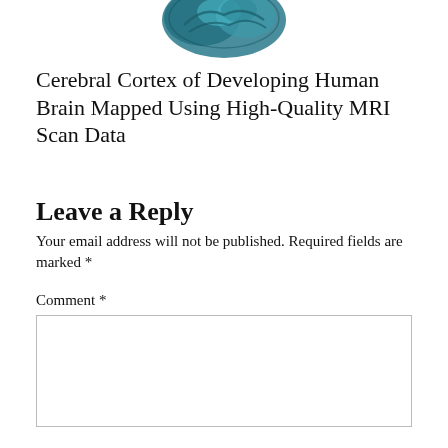[Figure (illustration): Colorful rendering of a cerebral cortex / brain image, shown partially at the top of the page in teal and blue tones]
Cerebral Cortex of Developing Human Brain Mapped Using High-Quality MRI Scan Data
Leave a Reply
Your email address will not be published. Required fields are marked *
Comment *